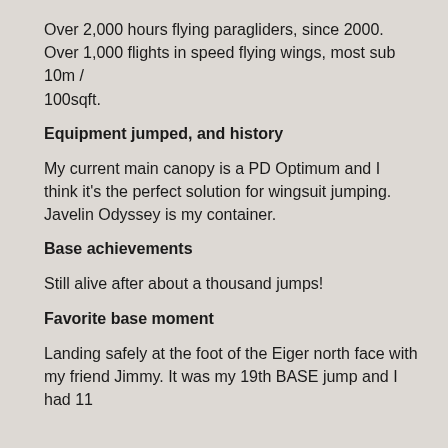Over 2,000 hours flying paragliders, since 2000.
Over 1,000 flights in speed flying wings, most sub 10m / 100sqft.
Equipment jumped, and history
My current main canopy is a PD Optimum and I think it’s the perfect solution for wingsuit jumping. Javelin Odyssey is my container.
Base achievements
Still alive after about a thousand jumps!
Favorite base moment
Landing safely at the foot of the Eiger north face with my friend Jimmy. It was my 19th BASE jump and I had 11 <continues>